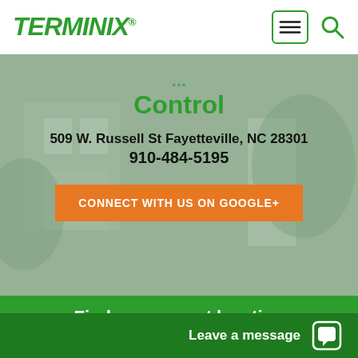[Figure (logo): Terminix green italic bold logo with registered trademark symbol]
[Figure (screenshot): Hero image of a house exterior with a person, text overlay showing partial page title 'Control', address '509 W. Russell St Fayetteville, NC 28301', phone '910-484-5195', and orange 'CONNECT WITH US ON GOOGLE+' button]
Control
509 W. Russell St Fayetteville, NC 28301
910-484-5195
CONNECT WITH US ON GOOGLE+
Find our nearest location
Pin Code
Leave a message